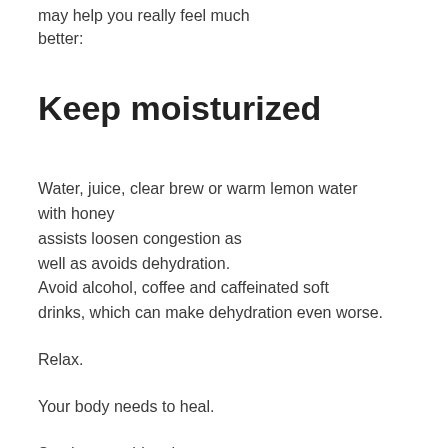may help you really feel much better:
Keep moisturized
Water, juice, clear brew or warm lemon water with honey assists loosen congestion as well as avoids dehydration. Avoid alcohol, coffee and caffeinated soft drinks, which can make dehydration even worse.
Relax.
Your body needs to heal.
Soothe an aching throat.